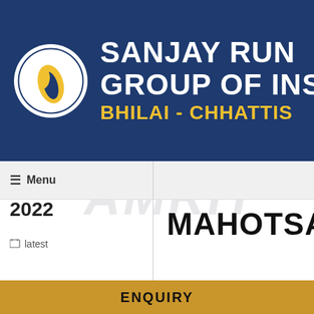[Figure (logo): Sanjay Rungta Group of Institutes logo banner with circular emblem and text: SANJAY RUNGTA GROUP OF INSTITUTES BHILAI - CHHATTISGARH on dark blue background]
≡ Menu
Aug
AMRIT
2022
MAHOTSAV
latest
ENQUIRY